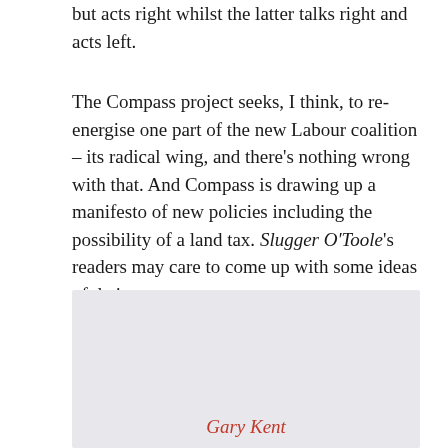but acts right whilst the latter talks right and acts left.
The Compass project seeks, I think, to re-energise one part of the new Labour coalition – its radical wing, and there's nothing wrong with that. And Compass is drawing up a manifesto of new policies including the possibility of a land tax. Slugger O'Toole's readers may care to come up with some ideas of their own.
[Figure (photo): A light grey/blue rectangular image placeholder with the text 'Gary Kent' in red italic at the bottom center]